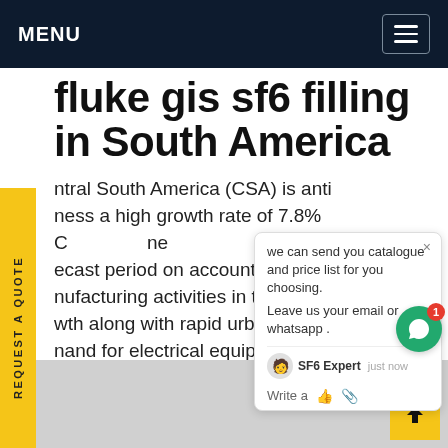MENU
fluke gis sf6 filling in South America
ntral South America (CSA) is anti​ness a high growth rate of 7.8% C​ecast period on account of incre​nufacturing activities in the r​wth along with rapid urbanizatio​nand for electrical equipment which in turn is​osting the demand for sulfur hexafluoride.Get​ce
[Figure (screenshot): Chat widget popup showing message: 'we can send you catalogue and price list for you choosing. Leave us your email or whatsapp.' with SF6 Expert agent indicator, close button, and action icons.]
[Figure (photo): Gray image placeholder at the bottom of the page]
REQUEST A QUOTE